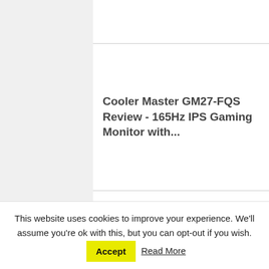Cooler Master GM27-FQS Review - 165Hz IPS Gaming Monitor with...
LG DualUp 28MQ780 Review - Unique 16:18 Ergo Monitor for...
ViewSonic VP3268a-4K Review - Pantone Validated 4K IPS monitor with...
This website uses cookies to improve your experience. We'll assume you're ok with this, but you can opt-out if you wish. Accept Read More